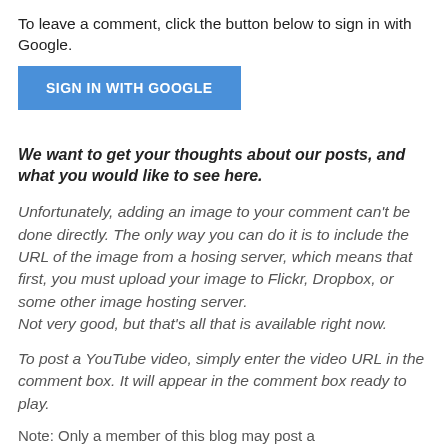To leave a comment, click the button below to sign in with Google.
[Figure (other): Blue button labeled SIGN IN WITH GOOGLE]
We want to get your thoughts about our posts, and what you would like to see here.
Unfortunately, adding an image to your comment can't be done directly. The only way you can do it is to include the URL of the image from a hosing server, which means that first, you must upload your image to Flickr, Dropbox, or some other image hosting server.
Not very good, but that's all that is available right now.
To post a YouTube video, simply enter the video URL in the comment box. It will appear in the comment box ready to play.
Note: Only a member of this blog may post a